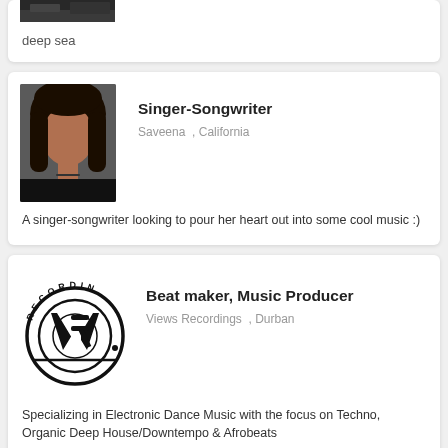[Figure (photo): Partial top of a card showing a dark underwater/deep sea photo cropped at top]
deep sea
[Figure (photo): Portrait photo of a woman with long dark hair against a dark background]
Singer-Songwriter
Saveena  , California
A singer-songwriter looking to pour her heart out into some cool music :)
[Figure (logo): Views Recordings logo: circular badge with VR monogram and text RECORDIN around top arc]
Beat maker, Music Producer
Views Recordings  , Durban
Specializing in Electronic Dance Music with the focus on Techno, Organic Deep House/Downtempo & Afrobeats
[Figure (photo): Partial bottom card showing a warm-toned portrait photo, cropped at bottom of page]